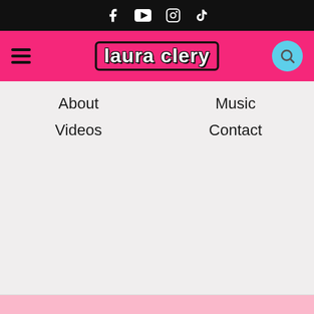[Figure (screenshot): Black top bar with social media icons: Facebook, YouTube, Instagram, TikTok]
[Figure (screenshot): Pink navigation header with hamburger menu, 'laura clery' logo in outlined white text, and cyan search button]
About
Videos
Music
Contact
[Figure (screenshot): Light pink footer area at the bottom of the page]